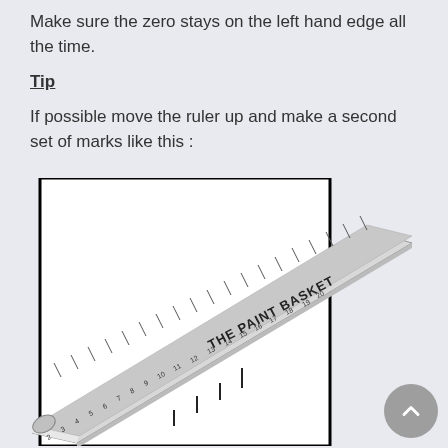Make sure the zero stays on the left hand edge all the time.
Tip
If possible move the ruler up and make a second set of marks like this :
[Figure (photo): A ruler labeled 'THE PAINT BASKET' placed diagonally across a white paper/canvas, with small tick marks visible on the paper showing measurement divisions.]